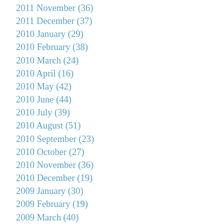2011 November (36)
2011 December (37)
2010 January (29)
2010 February (38)
2010 March (24)
2010 April (16)
2010 May (42)
2010 June (44)
2010 July (39)
2010 August (51)
2010 September (23)
2010 October (27)
2010 November (36)
2010 December (19)
2009 January (30)
2009 February (19)
2009 March (40)
2009 April (42)
2009 May (36)
2009 June (43)
2009 July (66)